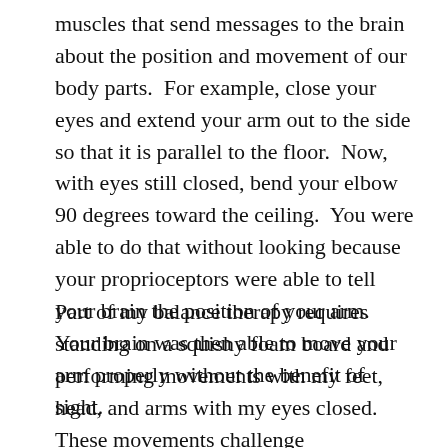muscles that send messages to the brain about the position and movement of our body parts.  For example, close your eyes and extend your arm out to the side so that it is parallel to the floor.  Now, with eyes still closed, bend your elbow 90 degrees toward the ceiling.  You were able to do that without looking because your proprioceptors were able to tell your brain the position of your arm.  Your brain was then able to move your arm properly without the benefit of sight.
Part of my balance therapy requires standing on a squishy foam board and performing movements with my feet, head, and arms with my eyes closed.  These movements challenge